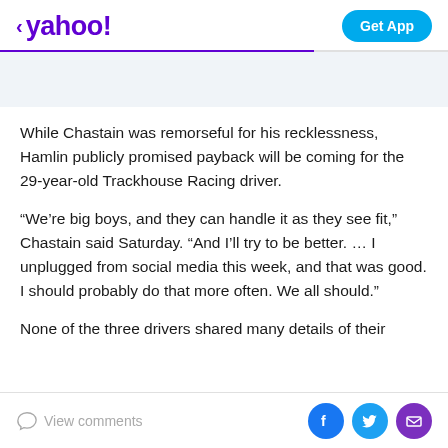< yahoo!  Get App
While Chastain was remorseful for his recklessness, Hamlin publicly promised payback will be coming for the 29-year-old Trackhouse Racing driver.
“We’re big boys, and they can handle it as they see fit,” Chastain said Saturday. “And I’ll try to be better. … I unplugged from social media this week, and that was good. I should probably do that more often. We all should.”
None of the three drivers shared many details of their
View comments